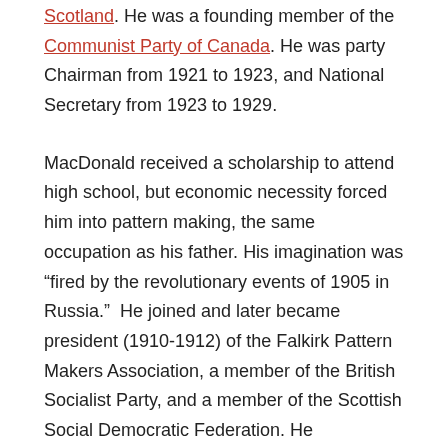Scotland. He was a founding member of the Communist Party of Canada. He was party Chairman from 1921 to 1923, and National Secretary from 1923 to 1929.
MacDonald received a scholarship to attend high school, but economic necessity forced him into pattern making, the same occupation as his father. His imagination was “fired by the revolutionary events of 1905 in Russia.”  He joined and later became president (1910-1912) of the Falkirk Pattern Makers Association, a member of the British Socialist Party, and a member of the Scottish Social Democratic Federation. He immigrated to Toronto in 1912, where he became involved in the local left.